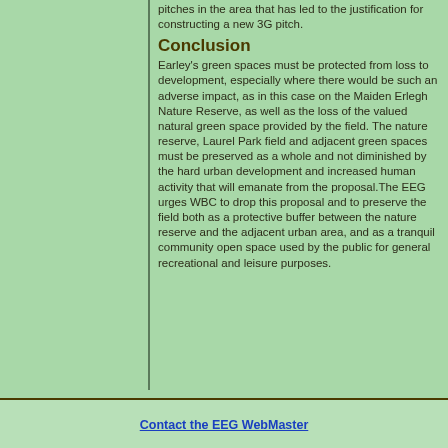pitches in the area that has led to the justification for constructing a new 3G pitch.
Conclusion
Earley's green spaces must be protected from loss to development, especially where there would be such an adverse impact, as in this case on the Maiden Erlegh Nature Reserve, as well as the loss of the valued natural green space provided by the field. The nature reserve, Laurel Park field and adjacent green spaces must be preserved as a whole and not diminished by the hard urban development and increased human activity that will emanate from the proposal.The EEG urges WBC to drop this proposal and to preserve the field both as a protective buffer between the nature reserve and the adjacent urban area, and as a tranquil community open space used by the public for general recreational and leisure purposes.
Contact the EEG WebMaster